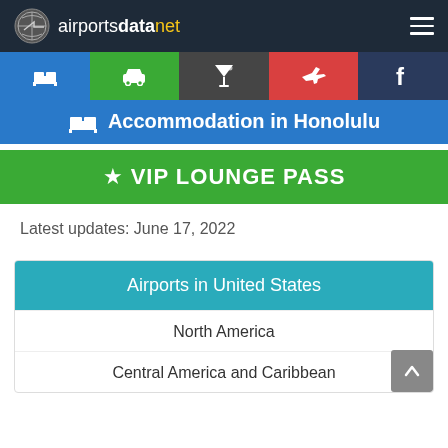airportsdatanet
[Figure (screenshot): Navigation icon tabs: bed/hotel (blue), car (green), cocktail (dark gray), airplane (red), facebook (navy)]
Accommodation in Honolulu
VIP LOUNGE PASS
Latest updates: June 17, 2022
Airports in United States
North America
Central America and Caribbean